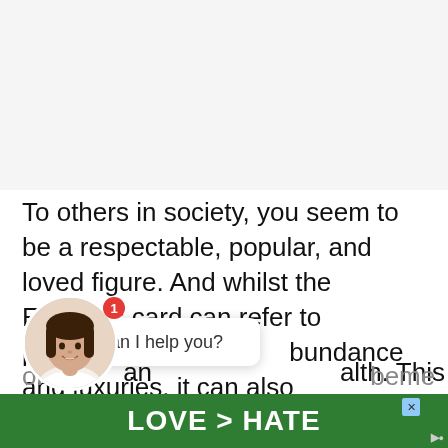[Figure (photo): White/light grey blank area where an image was removed or not loaded]
To others in society, you seem to be a respectable, popular, and loved figure. And whilst the Empress card can refer to physical abundance and luxuries, it can also represent an abundance of wealth. This can come in the form of abundance in knowledge or
[Figure (photo): Circular avatar photo of a smiling young woman with dark hair, with a red notification badge showing '1']
[Figure (other): Chat widget popup with text 'Can I help you?']
[Figure (photo): Bottom banner advertisement with green background showing 'LOVE > HATE' text in white, with a close button and logo]